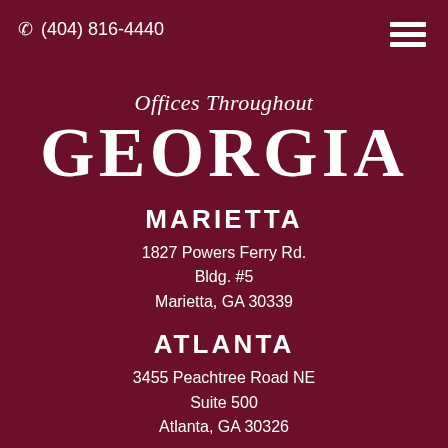(404) 816-4440
Offices Throughout
GEORGIA
MARIETTA
1827 Powers Ferry Rd.
Bldg. #5
Marietta, GA 30339
ATLANTA
3455 Peachtree Road NE
Suite 500
Atlanta, GA 30326
LAWRENCEVILLE